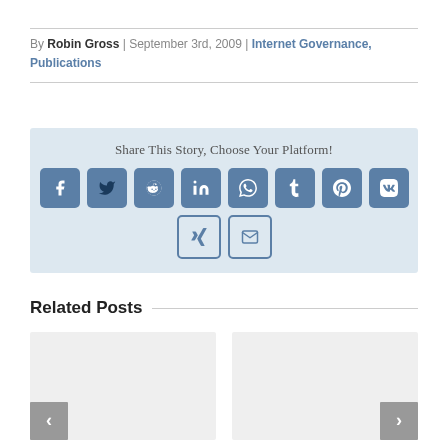By Robin Gross | September 3rd, 2009 | Internet Governance, Publications
[Figure (infographic): Share This Story, Choose Your Platform! widget with social media icon buttons: Facebook, Twitter, Reddit, LinkedIn, WhatsApp, Tumblr, Pinterest, VK, XING, Email]
Related Posts
[Figure (other): Two related post card placeholders with left/right navigation arrows]